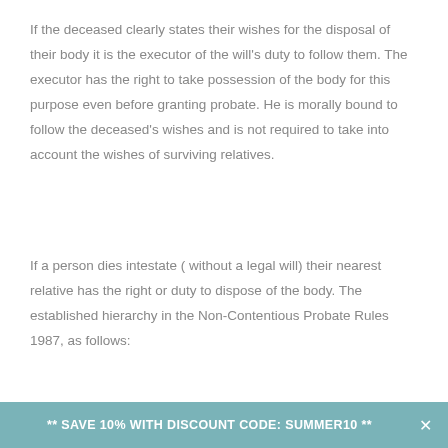If the deceased clearly states their wishes for the disposal of their body it is the executor of the will's duty to follow them. The executor has the right to take possession of the body for this purpose even before granting probate. He is morally bound to follow the deceased's wishes and is not required to take into account the wishes of surviving relatives.
If a person dies intestate ( without a legal will) their nearest relative has the right or duty to dispose of the body. The established hierarchy in the Non-Contentious Probate Rules 1987, as follows:
1. Surviving husband or wife, next.
** SAVE 10% WITH DISCOUNT CODE: SUMMER10 **